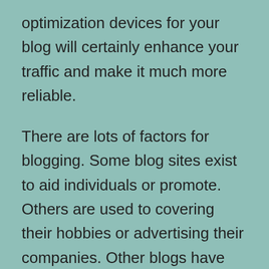optimization devices for your blog will certainly enhance your traffic and make it much more reliable.
There are lots of factors for blogging. Some blog sites exist to aid individuals or promote. Others are used to covering their hobbies or advertising their companies. Other blogs have the very same goals, yet most are built for seo. Enhancing blog site website traffic is essential, due to the fact that it enhances your website's visibility as well as makes it more successful. If you make use of search engine optimization tools to enhance your blog site, it will be more